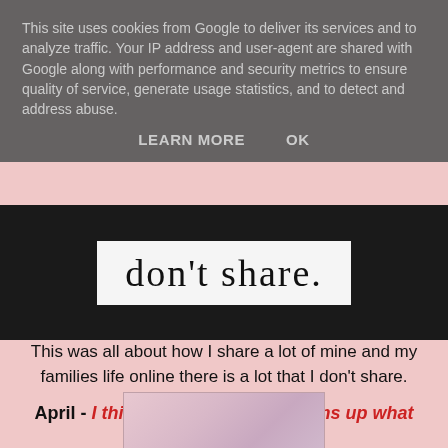This site uses cookies from Google to deliver its services and to analyze traffic. Your IP address and user-agent are shared with Google along with performance and security metrics to ensure quality of service, generate usage statistics, and to detect and address abuse.
LEARN MORE   OK
[Figure (photo): Black and white photo background with a white banner overlay containing the text 'don't share.' in handwritten/casual font]
This was all about how I share a lot of mine and my families life online there is a lot that I don't share.
April - I think this photo really sums up what my girls are like.
[Figure (photo): Partial floral/illustration image at the bottom of the page]